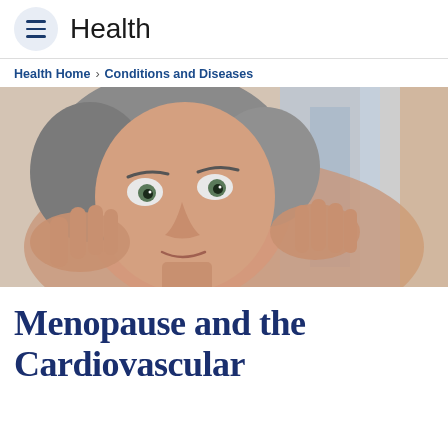Health
Health Home > Conditions and Diseases
[Figure (photo): Middle-aged woman with gray hair touching her face with both hands, looking upward, with a blurred background]
Menopause and the Cardiovascular